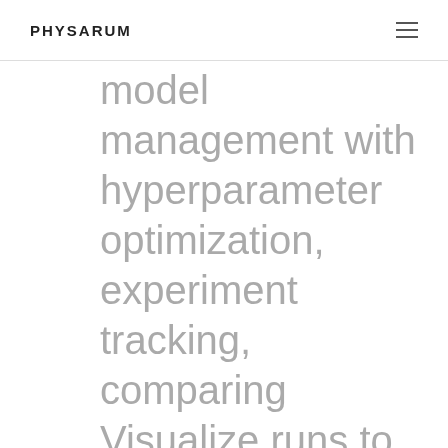PHYSARUM
model management with hyperparameter optimization, experiment tracking, comparing Visualize runs to compare experiments, run and identify high performing models Automatically